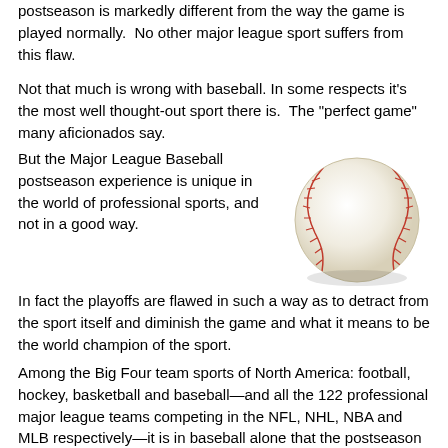postseason is markedly different from the way the game is played normally.  No other major league sport suffers from this flaw.
Not that much is wrong with baseball. In some respects it's the most well thought-out sport there is.  The "perfect game" many aficionados say.
But the Major League Baseball postseason experience is unique in the world of professional sports, and not in a good way.
[Figure (photo): A baseball with red stitching on a white background]
In fact the playoffs are flawed in such a way as to detract from the sport itself and diminish the game and what it means to be the world champion of the sport.
Among the Big Four team sports of North America: football, hockey, basketball and baseball—and all the 122 professional major league teams competing in the NFL, NHL, NBA and MLB respectively—it is in baseball alone that the postseason turns the sport itself on its head and makes it reflect something that it is not.  This article will explain why that happens and why it is wrong-headed.